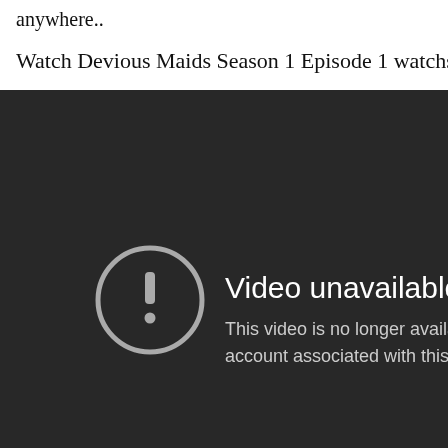anywhere..
Watch Devious Maids Season 1 Episode 1 watchseries.
[Figure (screenshot): A dark video player showing a 'Video unavailable' error message with a circle exclamation icon. Text reads: 'Video unavailable' and 'This video is no longer available becaus... account associated with this video has b...']